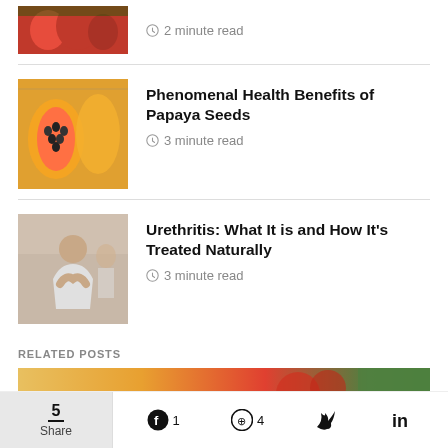2 minute read
Phenomenal Health Benefits of Papaya Seeds
3 minute read
Urethritis: What It is and How It's Treated Naturally
3 minute read
RELATED POSTS
[Figure (photo): Related posts food image strip showing fruits and vegetables]
5 Share  1  4  (Twitter)  in